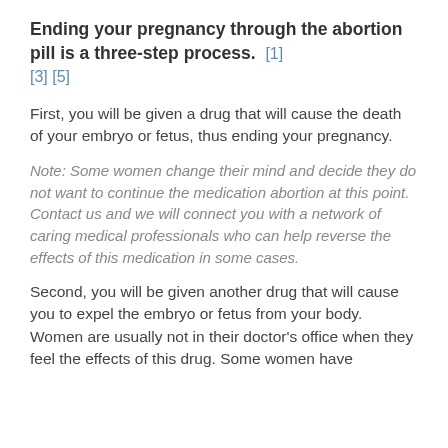Ending your pregnancy through the abortion pill is a three-step process. [1] [3] [5]
First, you will be given a drug that will cause the death of your embryo or fetus, thus ending your pregnancy.
Note: Some women change their mind and decide they do not want to continue the medication abortion at this point. Contact us and we will connect you with a network of caring medical professionals who can help reverse the effects of this medication in some cases.
Second, you will be given another drug that will cause you to expel the embryo or fetus from your body. Women are usually not in their doctor's office when they feel the effects of this drug. Some women have